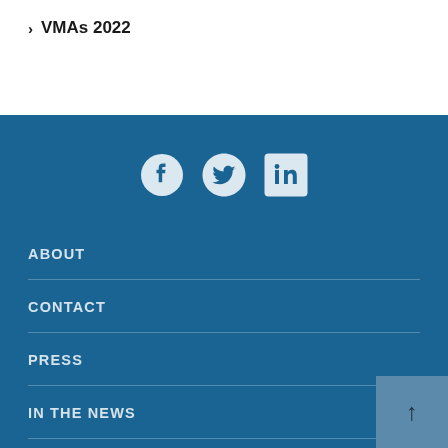> VMAs 2022
[Figure (illustration): Social media icons: Facebook, Twitter, LinkedIn]
ABOUT
CONTACT
PRESS
IN THE NEWS
DISCLAIMER